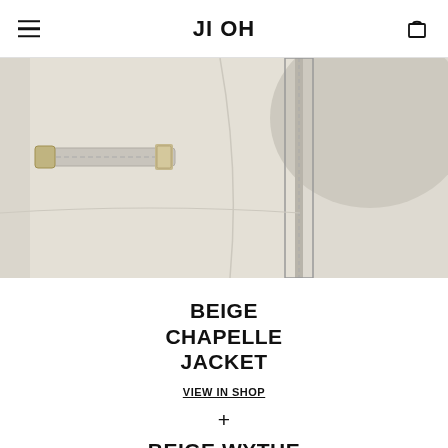JI OH
[Figure (photo): Close-up photo of a beige leather jacket showing zipper details and seams]
BEIGE CHAPELLE JACKET
VIEW IN SHOP
+
BEIGE WYTHE SHIRT